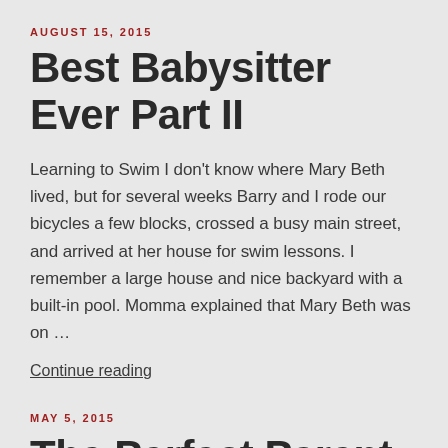AUGUST 15, 2015
Best Babysitter Ever Part II
Learning to Swim I don't know where Mary Beth lived, but for several weeks Barry and I rode our bicycles a few blocks, crossed a busy main street, and arrived at her house for swim lessons. I remember a large house and nice backyard with a built-in pool. Momma explained that Mary Beth was on …
Continue reading
MAY 5, 2015
The Perfect Parent Myth